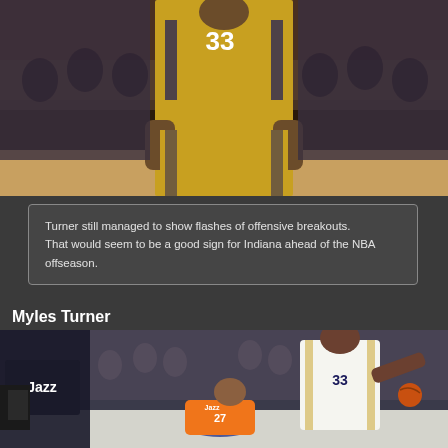[Figure (photo): Basketball player wearing Indiana Pacers yellow jersey number 33, standing on court with crowd in background]
Turner still managed to show flashes of offensive breakouts.
That would seem to be a good sign for Indiana ahead of the NBA offseason.
Myles Turner
[Figure (photo): Myles Turner of Indiana Pacers dribbling past Utah Jazz player number 27 Rudy Gobert who is on the floor, arena crowd in background]